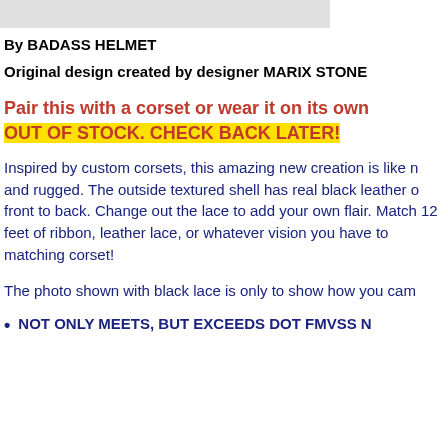By BADASS HELMET
Original design created by designer MARIX STONE
Pair this with a corset or wear it on its own
OUT OF STOCK. CHECK BACK LATER!
Inspired by custom corsets, this amazing new creation is like n and rugged. The outside textured shell has real black leather o front to back. Change out the lace to add your own flair. Match 12 feet of ribbon, leather lace, or whatever vision you have to matching corset!
The photo shown with black lace is only to show how you cam
NOT ONLY MEETS, BUT EXCEEDS DOT FMVSS N